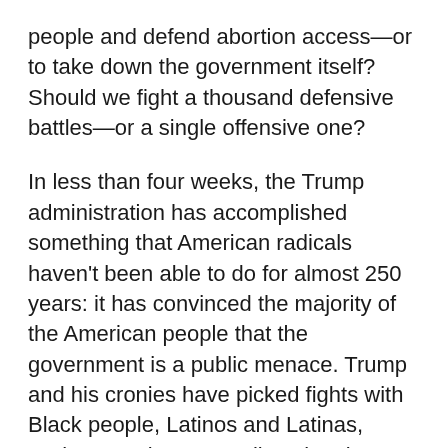people and defend abortion access—or to take down the government itself? Should we fight a thousand defensive battles—or a single offensive one?
In less than four weeks, the Trump administration has accomplished something that American radicals haven't been able to do for almost 250 years: it has convinced the majority of the American people that the government is a public menace. Trump and his cronies have picked fights with Black people, Latinos and Latinas, Native Americans, Muslims, immigrants, feminists, environmentalists, radicals, progressives, liberals, and a swath of federal, state, and municipal employees—in short, with the better part of the population. For good measure, they